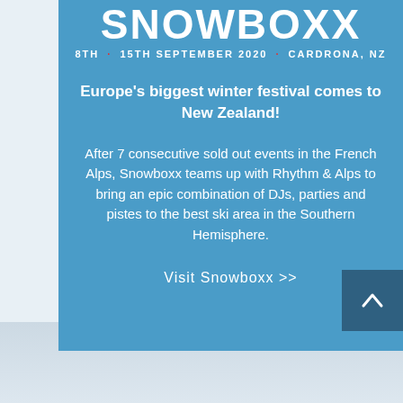SNOWBOXX
8TH · 15TH SEPTEMBER 2020 · CARDRONA, NZ
Europe's biggest winter festival comes to New Zealand!
After 7 consecutive sold out events in the French Alps, Snowboxx teams up with Rhythm & Alps to bring an epic combination of DJs, parties and pistes to the best ski area in the Southern Hemisphere.
Visit Snowboxx >>